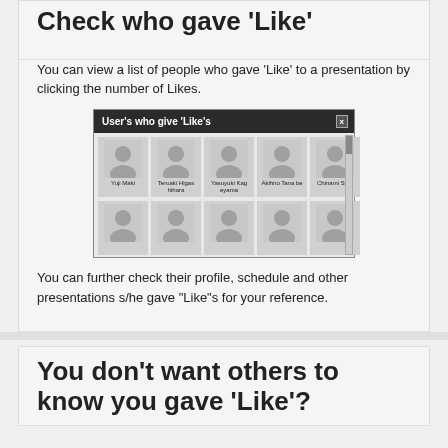Check who gave 'Like'
You can view a list of people who gave 'Like' to a presentation by clicking the number of Likes.
[Figure (screenshot): A dialog box titled "User's who give 'Like's" showing a grid of user profile placeholder images with names: Yuji Maki, Teruaki Higashihara, Yasuyuki Kageyama, Akihiro Tanabe, Chinami Sato, and a second row of unnamed users.]
You can further check their profile, schedule and other presentations s/he gave "Like"s for your reference.
You don't want others to know you gave 'Like'?